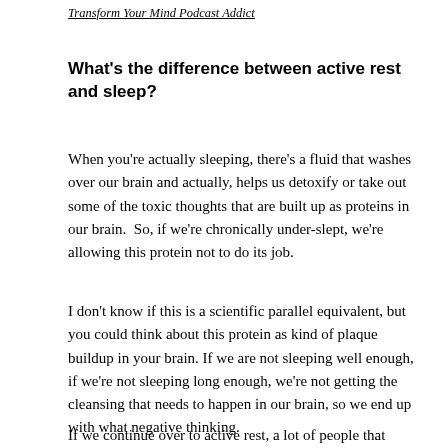Transform Your Mind Podcast Addict
What's the difference between active rest and sleep?
When you're actually sleeping, there's a fluid that washes over our brain and actually, helps us detoxify or take out some of the toxic thoughts that are built up as proteins in our brain.  So, if we're chronically under-slept, we're allowing this protein not to do its job.
I don't know if this is a scientific parallel equivalent, but you could think about this protein as kind of plaque buildup in your brain. If we are not sleeping well enough, if we're not sleeping long enough, we're not getting the cleansing that needs to happen in our brain, so we end up with what negative thinking.
If we continue over to active rest, a lot of people that